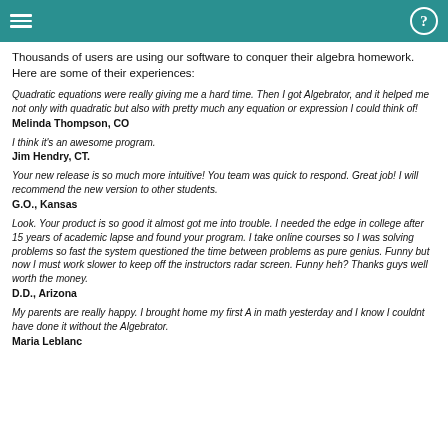≡  ?
Thousands of users are using our software to conquer their algebra homework. Here are some of their experiences:
Quadratic equations were really giving me a hard time. Then I got Algebrator, and it helped me not only with quadratic but also with pretty much any equation or expression I could think of!
Melinda Thompson, CO
I think it's an awesome program.
Jim Hendry, CT.
Your new release is so much more intuitive! You team was quick to respond. Great job! I will recommend the new version to other students.
G.O., Kansas
Look. Your product is so good it almost got me into trouble. I needed the edge in college after 15 years of academic lapse and found your program. I take online courses so I was solving problems so fast the system questioned the time between problems as pure genius. Funny but now I must work slower to keep off the instructors radar screen. Funny heh? Thanks guys well worth the money.
D.D., Arizona
My parents are really happy. I brought home my first A in math yesterday and I know I couldnt have done it without the Algebrator.
Maria Leblanc